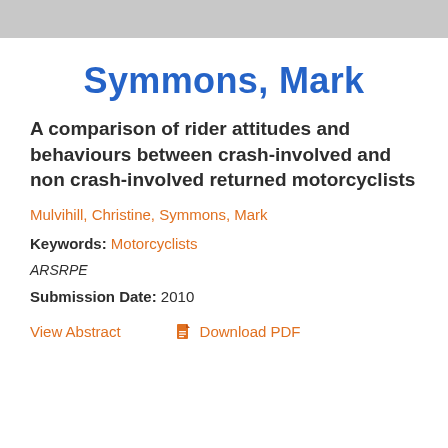Symmons, Mark
A comparison of rider attitudes and behaviours between crash-involved and non crash-involved returned motorcyclists
Mulvihill, Christine, Symmons, Mark
Keywords: Motorcyclists
ARSRPE
Submission Date: 2010
View Abstract   Download PDF